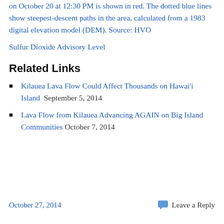on October 20 at 12:30 PM is shown in red. The dotted blue lines show steepest-descent paths in the area, calculated from a 1983 digital elevation model (DEM). Source: HVO
Sulfur Dioxide Advisory Level
Related Links
Kilauea Lava Flow Could Affect Thousands on Hawai'i Island  September 5, 2014
Lava Flow from Kilauea Advancing AGAIN on Big Island Communities  October 7, 2014
October 27, 2014    Leave a Reply